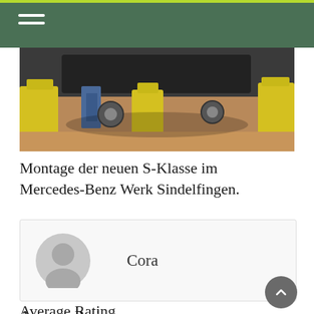[Figure (photo): Car assembly photo showing underside of vehicle on lift with yellow equipment in Mercedes-Benz Werk Sindelfingen factory]
Montage der neuen S-Klasse im Mercedes-Benz Werk Sindelfingen.
[Figure (illustration): User profile card showing avatar placeholder and name 'Cora']
Average Rating
5 Star 0%